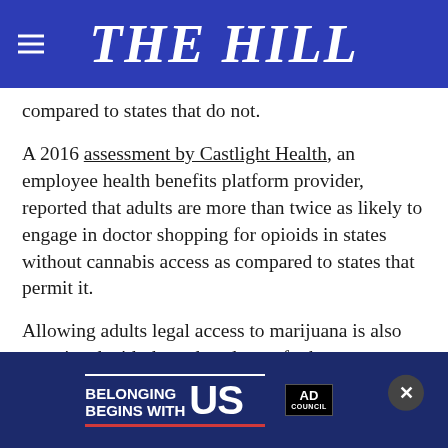THE HILL
compared to states that do not.
A 2016 assessment by Castlight Health, an employee health benefits platform provider, reported that adults are more than twice as likely to engage in doctor shopping for opioids in states without cannabis access as compared to states that permit it.
Allowing adults legal access to marijuana is also associated with the reduced use of other, potentially more dangerous prescription drugs. For example, a study at the University of … between medical marijuana legalization laws
[Figure (other): Ad banner: 'BELONGING BEGINS WITH US' with red underline, Ad Council badge, and close (X) button overlay]